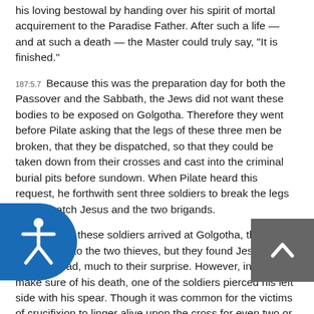his loving bestowal by handing over his spirit of mortal acquirement to the Paradise Father. After such a life — and at such a death — the Master could truly say, "It is finished."
187:5.7 Because this was the preparation day for both the Passover and the Sabbath, the Jews did not want these bodies to be exposed on Golgotha. Therefore they went before Pilate asking that the legs of these three men be broken, that they be dispatched, so that they could be taken down from their crosses and cast into the criminal burial pits before sundown. When Pilate heard this request, he forthwith sent three soldiers to break the legs and dispatch Jesus and the two brigands.
187:5.8 When these soldiers arrived at Golgotha, they did accordingly to the two thieves, but they found Jesus already dead, much to their surprise. However, in order to make sure of his death, one of the soldiers pierced his left side with his spear. Though it was common for the victims of crucifixion to linger alive upon the cross for even two or three days, the overwhelming emotional agony and the acute spiritual anguish of Jesus brought an end to his mortal life in the flesh a little less than five and one-half hours.
6. After the Crucifixion